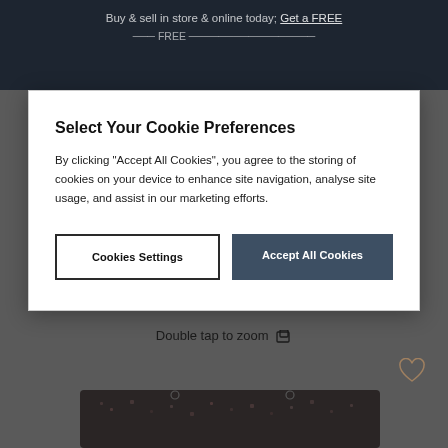Buy & sell in store & online today; Get a FREE
Select Your Cookie Preferences
By clicking "Accept All Cookies", you agree to the storing of cookies on your device to enhance site navigation, analyse site usage, and assist in our marketing efforts.
Cookies Settings
Accept All Cookies
Double tap to zoom
[Figure (illustration): Heart/wishlist icon outline]
[Figure (photo): Black sequin crossbody handbag with chain strap]